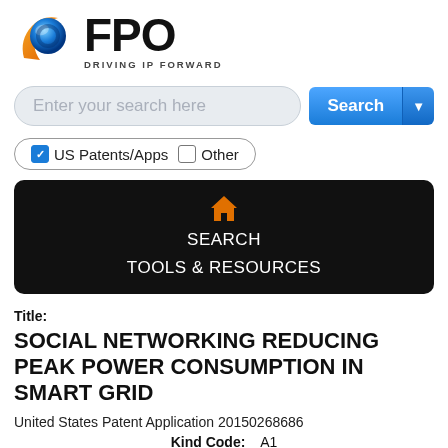[Figure (logo): FPO logo with blue sphere and orange arc, text reads FPO DRIVING IP FORWARD]
[Figure (screenshot): Search bar with placeholder text 'Enter your search here' and blue Search button with dropdown arrow]
[Figure (screenshot): Checkbox filter row: checked US Patents/Apps, unchecked Other]
[Figure (screenshot): Black navigation bar with orange home icon, SEARCH and TOOLS & RESOURCES links]
Title:
SOCIAL NETWORKING REDUCING PEAK POWER CONSUMPTION IN SMART GRID
United States Patent Application 20150268686
Kind Code:    A1